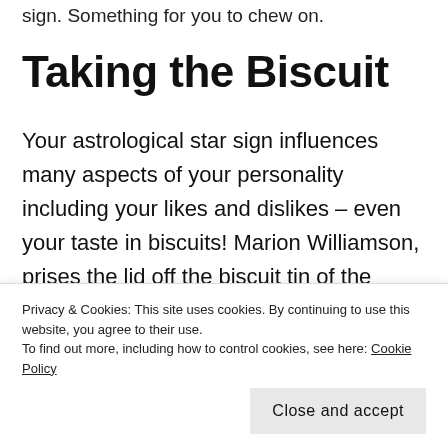sign. Something for you to chew on.
Taking the Biscuit
Your astrological star sign influences many aspects of your personality including your likes and dislikes – even your taste in biscuits! Marion Williamson, prises the lid off the biscuit tin of the zodiac to see what
Privacy & Cookies: This site uses cookies. By continuing to use this website, you agree to their use.
To find out more, including how to control cookies, see here: Cookie Policy
Close and accept